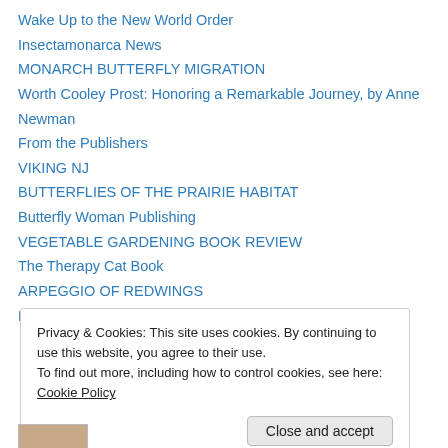Wake Up to the New World Order
Insectamonarca News
MONARCH BUTTERFLY MIGRATION
Worth Cooley Prost: Honoring a Remarkable Journey, by Anne Newman
From the Publishers
VIKING NJ
BUTTERFLIES OF THE PRAIRIE HABITAT
Butterfly Woman Publishing
VEGETABLE GARDENING BOOK REVIEW
The Therapy Cat Book
ARPEGGIO OF REDWINGS
MANY WATERS
Privacy & Cookies: This site uses cookies. By continuing to use this website, you agree to their use.
To find out more, including how to control cookies, see here: Cookie Policy
Close and accept
[Figure (photo): Partial image strip at bottom of page]